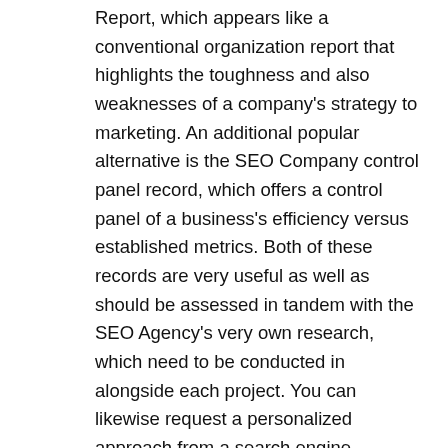Report, which appears like a conventional organization report that highlights the toughness and also weaknesses of a company's strategy to marketing. An additional popular alternative is the SEO Company control panel record, which offers a control panel of a business's efficiency versus established metrics. Both of these records are very useful as well as should be assessed in tandem with the SEO Agency's very own research, which need to be conducted in alongside each project. You can likewise request a personalized approach from a search engine optimization professional that can be customized to the details requirements of your organization structure.
The last element to look for when choosing a SEO company is the efficiency of their methods as well as techniques. Some search engine optimization business might simply focus on utilizing web link structure tactics and also this is thought about to be an efficient approach. However, if you want to boost your web site's position on various online search engine, the critical element for digital